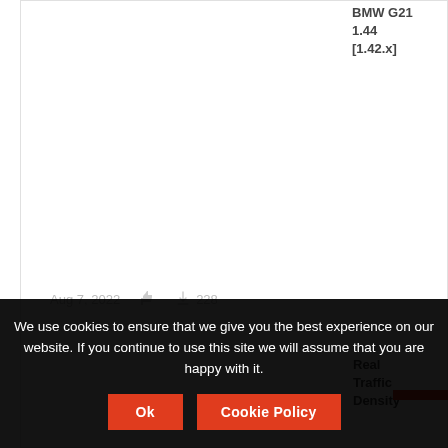BMW G21 1.44 [1.42.x]
Aug 7, 2022  228
Real Traffic Density
We use cookies to ensure that we give you the best experience on our website. If you continue to use this site we will assume that you are happy with it.
Ok
Cookie Policy